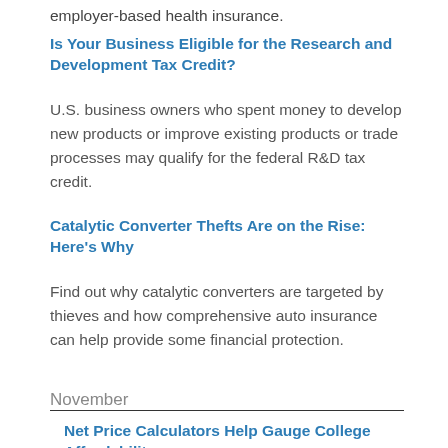workers who are eligible for both Medicare and employer-based health insurance.
Is Your Business Eligible for the Research and Development Tax Credit?
U.S. business owners who spent money to develop new products or improve existing products or trade processes may qualify for the federal R&D tax credit.
Catalytic Converter Thefts Are on the Rise: Here’s Why
Find out why catalytic converters are targeted by thieves and how comprehensive auto insurance can help provide some financial protection.
November
Net Price Calculators Help Gauge College Affordability
Did you know a net price calculator can help